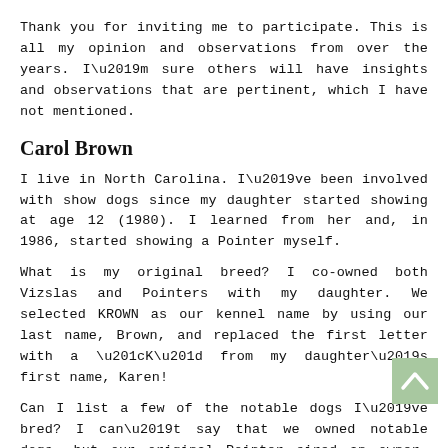Thank you for inviting me to participate. This is all my opinion and observations from over the years. I'm sure others will have insights and observations that are pertinent, which I have not mentioned.
Carol Brown
I live in North Carolina. I've been involved with show dogs since my daughter started showing at age 12 (1980). I learned from her and, in 1986, started showing a Pointer myself.
What is my original breed? I co-owned both Vizslas and Pointers with my daughter. We selected KROWN as our kennel name by using our last name, Brown, and replaced the first letter with a “K” from my daughter’s first name, Karen!
Can I list a few of the notable dogs I’ve bred? I can’t say that we owned notable dogs, but our original Pointer sired an owner-handled Best in Show bitch as well as a